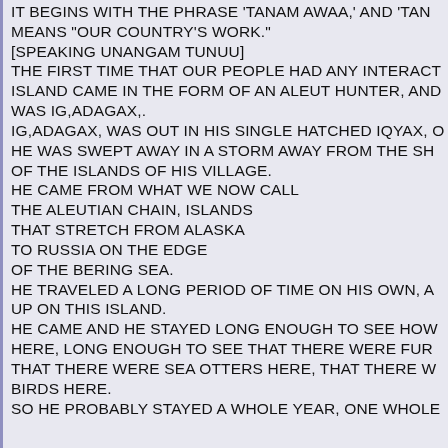IT BEGINS WITH THE PHRASE 'TANAM AWAA,' AND 'TAN' MEANS "OUR COUNTRY'S WORK." [SPEAKING UNANGAM TUNUU] THE FIRST TIME THAT OUR PEOPLE HAD ANY INTERACTION WITH THIS ISLAND CAME IN THE FORM OF AN ALEUT HUNTER, AND HIS NAME WAS IG,ADAGAX,. IG,ADAGAX, WAS OUT IN HIS SINGLE HATCHED IQYAX, OR KAYAK, AND HE WAS SWEPT AWAY IN A STORM AWAY FROM THE SHORES OF THE ISLANDS OF HIS VILLAGE. HE CAME FROM WHAT WE NOW CALL THE ALEUTIAN CHAIN, ISLANDS THAT STRETCH FROM ALASKA TO RUSSIA ON THE EDGE OF THE BERING SEA. HE TRAVELED A LONG PERIOD OF TIME ON HIS OWN, AND ENDED UP ON THIS ISLAND. HE CAME AND HE STAYED LONG ENOUGH TO SEE HOW THINGS WERE HERE, LONG ENOUGH TO SEE THAT THERE WERE FUR SEALS HERE, THAT THERE WERE SEA OTTERS HERE, THAT THERE WERE SEA BIRDS HERE. SO HE PROBABLY STAYED A WHOLE YEAR, ONE WHOLE YEAR.